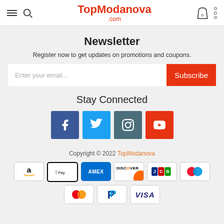TopModanova.com
Newsletter
Register now to get updates on promotions and coupons.
Enter your email... Subscribe
Stay Connected
[Figure (infographic): Social media icons: Facebook, Twitter, Instagram, YouTube]
Copyright © 2022 TopModanova
[Figure (infographic): Payment method icons: Amazon, Apple Pay, AMEX, Discover, JCB, Mastercard (circles), Mastercard, PayPal, VISA]